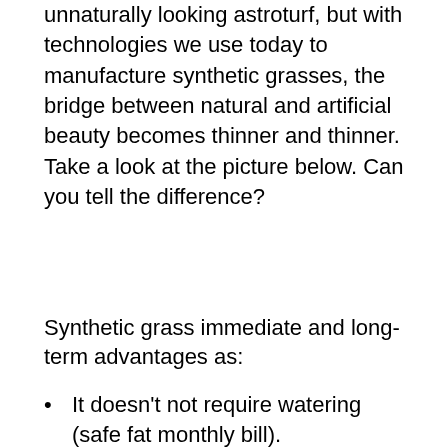unnaturally looking astroturf, but with technologies we use today to manufacture synthetic grasses, the bridge between natural and artificial beauty becomes thinner and thinner. Take a look at the picture below. Can you tell the difference?
Synthetic grass immediate and long-term advantages as:
It doesn't not require watering (safe fat monthly bill).
There is no need in mowing or trimming edges.
Synthetic grass dries quickly after rain and keep green and cool during summer drought periods.
No worries about weeds, diseases and immune